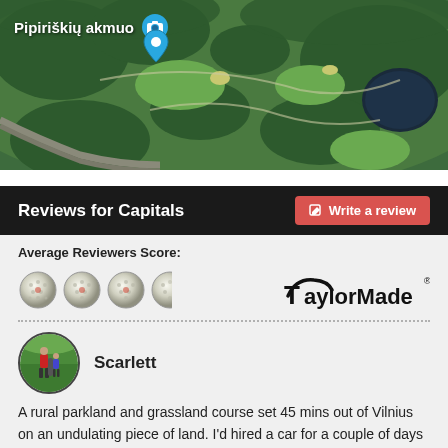[Figure (screenshot): Aerial/satellite map view showing a golf course area near Pipiriškių akmuo, Lithuania. Green forested terrain with paths, a dark lake visible in the top right, and a road on the left. A blue location pin is shown. Label 'Pipiriškių akmuo' and a camera icon appear in the top-left corner.]
Reviews for Capitals
Average Reviewers Score:
[Figure (other): Rating shown as golf balls - approximately 3.5 out of 5 golf balls displayed, alongside the TaylorMade logo]
Scarlett
A rural parkland and grassland course set 45 mins out of Vilnius on an undulating piece of land. I'd hired a car for a couple of days whilst in the Lithuanian capital and so drove myself out to the club, following the recommended satnav directions...